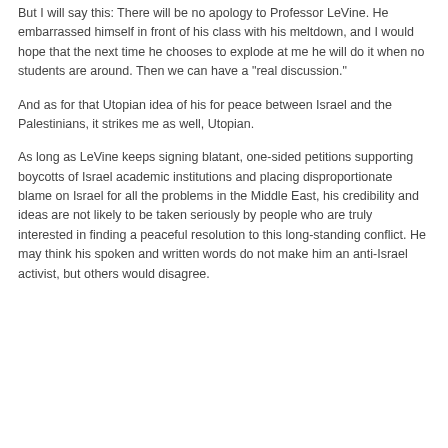But I will say this: There will be no apology to Professor LeVine. He embarrassed himself in front of his class with his meltdown, and I would hope that the next time he chooses to explode at me he will do it when no students are around. Then we can have a "real discussion."
And as for that Utopian idea of his for peace between Israel and the Palestinians, it strikes me as well, Utopian.
As long as LeVine keeps signing blatant, one-sided petitions supporting boycotts of Israel academic institutions and placing disproportionate blame on Israel for all the problems in the Middle East, his credibility and ideas are not likely to be taken seriously by people who are truly interested in finding a peaceful resolution to this long-standing conflict. He may think his spoken and written words do not make him an anti-Israel activist, but others would disagree.